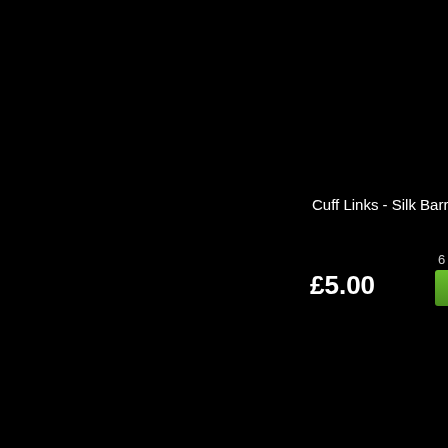Cuff Links - Silk Barrels
6 in st
£5.00
BU